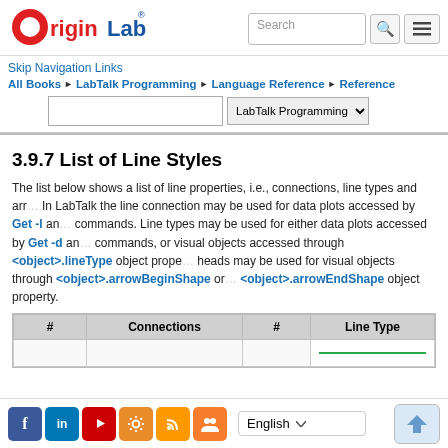[Figure (logo): OriginLab logo with red circle O and blue Lab text]
Skip Navigation Links
All Books ▶ LabTalk Programming ▶ Language Reference ▶ Reference
3.9.7 List of Line Styles
The list below shows a list of line properties, i.e., connections, line types and arrowheads. In LabTalk the line connection may be used for data plots accessed by Get -l and commands. Line types may be used for either data plots accessed by Get -d and commands, or visual objects accessed through <object>.lineType object property. Arrow heads may be used for visual objects through <object>.arrowBeginShape or <object>.arrowEndShape object property.
| # | Connections | # | Line Type |
| --- | --- | --- | --- |
|  |  |  |  |